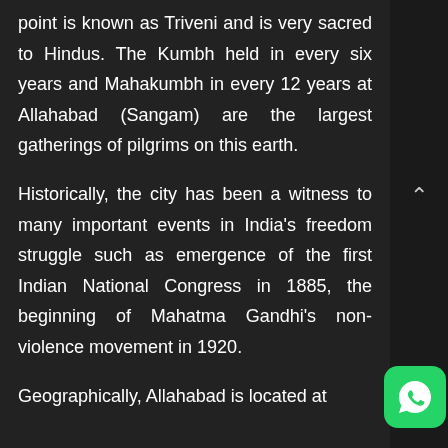point is known as Triveni and is very sacred to Hindus. The Kumbh held in every six years and Mahakumbh in every 12 years at Allahabad (Sangam) are the largest gatherings of pilgrims on this earth.
Historically, the city has been a witness to many important events in India's freedom struggle such as emergence of the first Indian National Congress in 1885, the beginning of Mahatma Gandhi's non-violence movement in 1920.
Geographically, Allahabad is located at